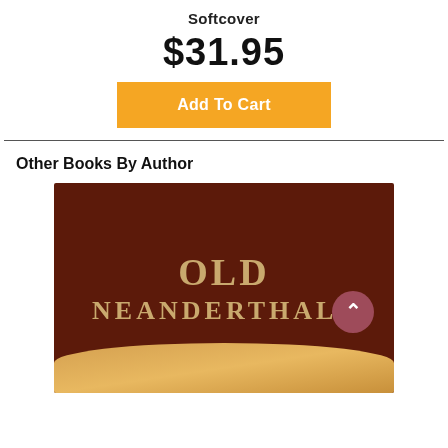Softcover
$31.95
Add To Cart
Other Books By Author
[Figure (photo): Book cover for 'Old Neanderthals' on a dark brown background with gold serif text and a golden bokeh light-effect image strip at the bottom.]